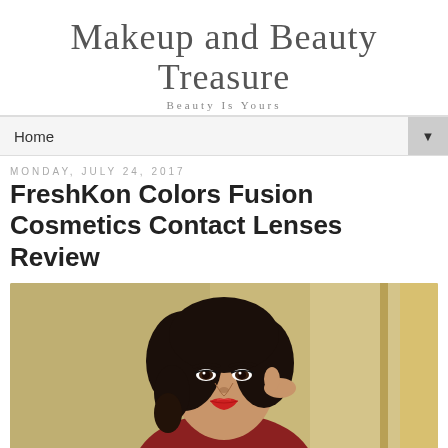Makeup and Beauty Treasure — Beauty Is Yours
Home
Monday, July 24, 2017
FreshKon Colors Fusion Cosmetics Contact Lenses Review
[Figure (photo): Portrait photo of a young woman with dark curly hair, red lipstick, wearing a dark top, posed with hand near her hair, warm/golden background]